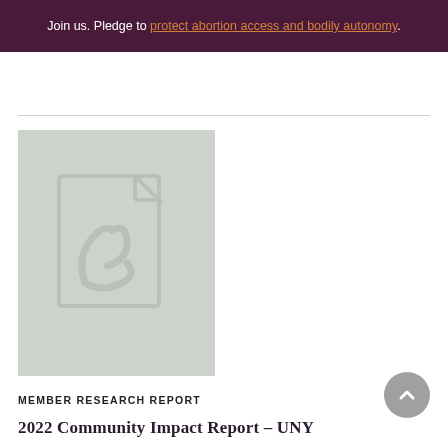Join us. Pledge to protect abortion access and bodily autonomy.
[Figure (illustration): Gray placeholder PDF document icon with Adobe Acrobat-style logo in white]
MEMBER RESEARCH REPORT
2022 Community Impact Report - UNY...